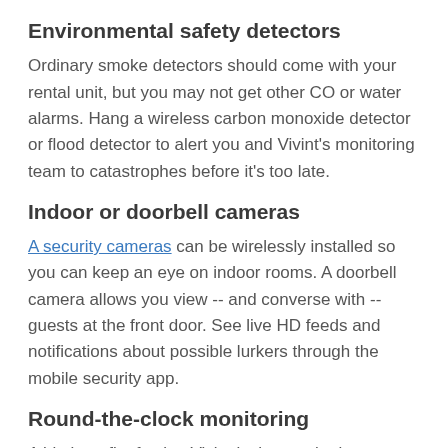Environmental safety detectors
Ordinary smoke detectors should come with your rental unit, but you may not get other CO or water alarms. Hang a wireless carbon monoxide detector or flood detector to alert you and Vivint’s monitoring team to catastrophes before it’s too late.
Indoor or doorbell cameras
A security cameras can be wirelessly installed so you can keep an eye on indoor rooms. A doorbell camera allows you view -- and converse with -- guests at the front door. See live HD feeds and notifications about possible lurkers through the mobile security app.
Round-the-clock monitoring
A big benefit of using Vivint is the monitoring agents